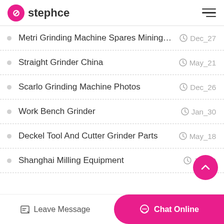stephce
Metri Grinding Machine Spares Mining... Dec_27
Straight Grinder China May_21
Scarlo Grinding Machine Photos Dec_26
Work Bench Grinder Jan_30
Deckel Tool And Cutter Grinder Parts May_18
Shanghai Milling Equipment Jul_20
Leave Message | Chat Online